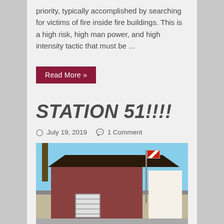priority, typically accomplished by searching for victims of fire inside fire buildings. This is a high risk, high man power, and high intensity tactic that must be ...
Read More »
STATION 51!!!!
July 19, 2019   1 Comment
[Figure (photo): Exterior photo of Fire Station 51, a brick fire station building with a large white garage door, palm trees, a flagpole with the California state flag, and a white adjacent building, under a clear blue sky.]